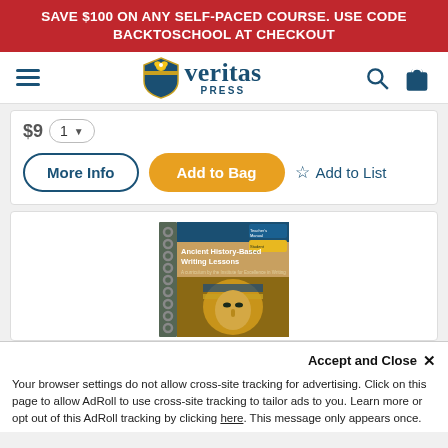SAVE $100 ON ANY SELF-PACED COURSE. USE CODE BACKTOSCHOOL AT CHECKOUT
[Figure (logo): Veritas Press logo with shield and eagle, site navigation bar with hamburger menu, search icon, and shopping bag icon]
$9  1 ▼
More Info   Add to Bag   ☆ Add to List
[Figure (photo): Ancient History-Based Writing Lessons spiral-bound book with Egyptian pharaoh mask cover image, shown with teacher and student editions]
Accept and Close ✕
Your browser settings do not allow cross-site tracking for advertising. Click on this page to allow AdRoll to use cross-site tracking to tailor ads to you. Learn more or opt out of this AdRoll tracking by clicking here. This message only appears once.